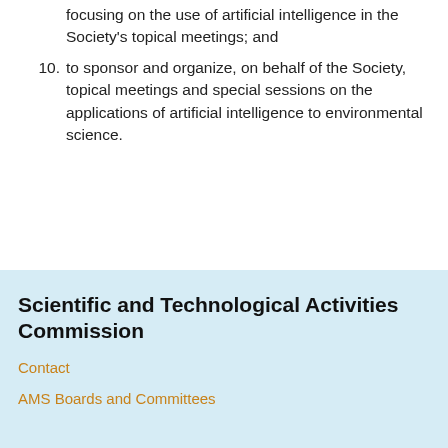focusing on the use of artificial intelligence in the Society's topical meetings; and
10. to sponsor and organize, on behalf of the Society, topical meetings and special sessions on the applications of artificial intelligence to environmental science.
Scientific and Technological Activities Commission
Contact
AMS Boards and Committees